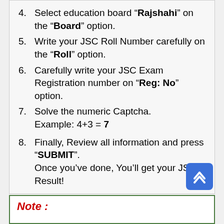4. Select education board "Rajshahi" on the "Board" option.
5. Write your JSC Roll Number carefully on the "Roll" option.
6. Carefully write your JSC Exam Registration number on "Reg: No" option.
7. Solve the numeric Captcha. Example: 4+3 = 7
8. Finally, Review all information and press "SUBMIT". Once you've done, You'll get your JSC Result!
Note :